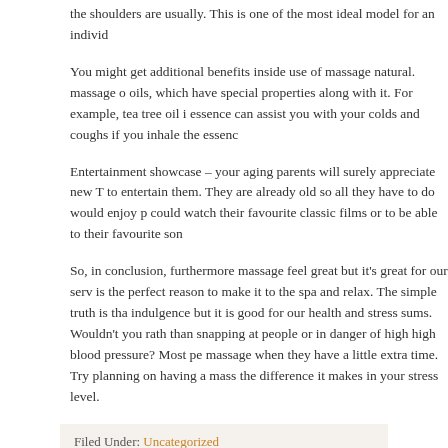the shoulders are usually. This is one of the most ideal model for an individ...
You might get additional benefits inside use of massage natural. massage o... oils, which have special properties along with it. For example, tea tree oil i... essence can assist you with your colds and coughs if you inhale the essenc...
Entertainment showcase – your aging parents will surely appreciate new T... to entertain them. They are already old so all they have to do would enjoy p... could watch their favourite classic films or to be able to their favourite son...
So, in conclusion, furthermore massage feel great but it's great for our serv... is the perfect reason to make it to the spa and relax. The simple truth is tha... indulgence but it is good for our health and stress sums. Wouldn't you rath... than snapping at people or in danger of high high blood pressure? Most pe... massage when they have a little extra time. Try planning on having a mass... the difference it makes in your stress level.
Filed Under: Uncategorized